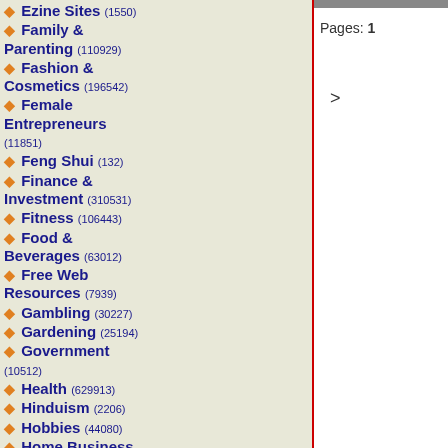Ezine Sites (1550)
Family & Parenting (110929)
Fashion & Cosmetics (196542)
Female Entrepreneurs (11851)
Feng Shui (132)
Finance & Investment (310531)
Fitness (106443)
Food & Beverages (63012)
Free Web Resources (7939)
Gambling (30227)
Gardening (25194)
Government (10512)
Health (629913)
Hinduism (2206)
Hobbies (44080)
Home Business (91593)
Home Improvement (251151)
Pages: 1
>